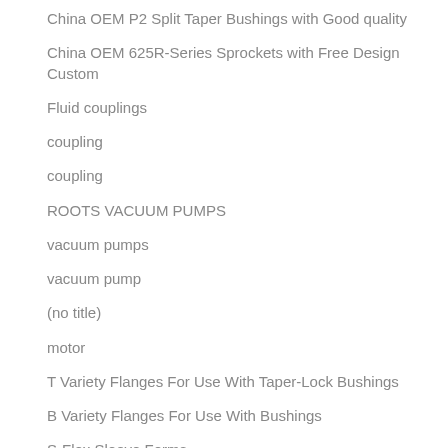China OEM P2 Split Taper Bushings with Good quality
China OEM 625R-Series Sprockets with Free Design Custom
Fluid couplings
coupling
coupling
ROOTS VACUUM PUMPS
vacuum pumps
vacuum pump
(no title)
motor
T Variety Flanges For Use With Taper-Lock Bushings
B Variety Flanges For Use With Bushings
S-Flex Sleeve Forms
S-Flex Clamps